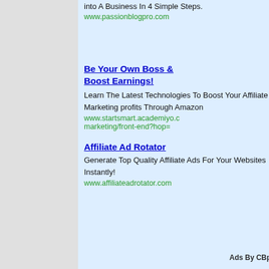into A Business In 4 Simple Steps.
www.passionblogpro.com
Be Your Own Boss & Boost Earnings!
Learn The Latest Technologies To Boost Your Affiliate Marketing profits Through Amazon
www.startsmart.academiyo.c marketing/front-end?hop=
Affiliate Ad Rotator
Generate Top Quality Affiliate Ads For Your Websites Instantly!
www.affiliateadrotator.com
Ads By CBproAds
[Figure (photo): Affiliate Millionaire product box set showing books and digital media]
Instant Acces
Get The One Secret Metho Using Nothing But Your La
Rating: Excellent
[Figure (illustration): Four green dollar sign coin icons in a row]